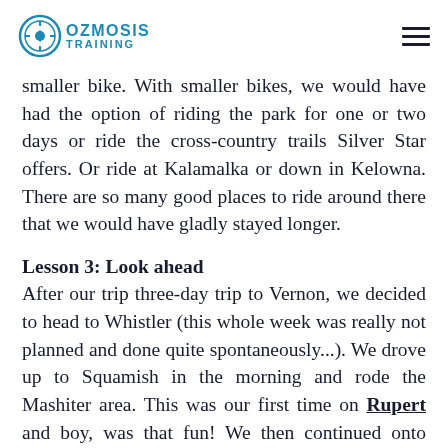OZMOSIS TRAINING
smaller bike. With smaller bikes, we would have had the option of riding the park for one or two days or ride the cross-country trails Silver Star offers. Or ride at Kalamalka or down in Kelowna. There are so many good places to ride around there that we would have gladly stayed longer.
Lesson 3: Look ahead
After our trip three-day trip to Vernon, we decided to head to Whistler (this whole week was really not planned and done quite spontaneously...). We drove up to Squamish in the morning and rode the Mashiter area. This was our first time on Rupert and boy, was that fun! We then continued onto Whistler with a little